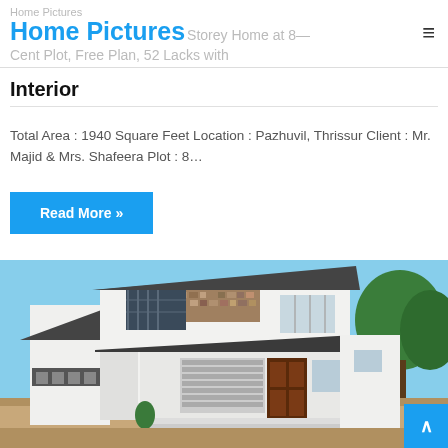Home Pictures  [Storey Home at 8_ Cent Plot, Free Plan, 52 Lacks with]
Interior
Total Area : 1940 Square Feet Location : Pazhuvil, Thrissur Client : Mr. Majid & Mrs. Shafeera Plot : 8…
Read More »
[Figure (photo): Exterior photo of a two-storey white modern Kerala home with dark roof panels, stone cladding accents, horizontal louver windows, brown entrance door, and landscaped front area under blue sky.]